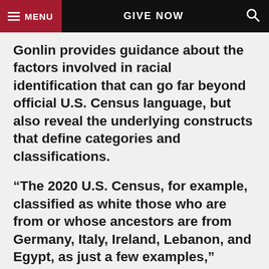MENU   GIVE NOW   🔍
Gonlin provides guidance about the factors involved in racial identification that can go far beyond official U.S. Census language, but also reveal the underlying constructs that define categories and classifications.
“The 2020 U.S. Census, for example, classified as white those who are from or whose ancestors are from Germany, Italy, Ireland, Lebanon, and Egypt, as just a few examples,” Gonlin said. “Race is a social construct and our idea of who is classified as white